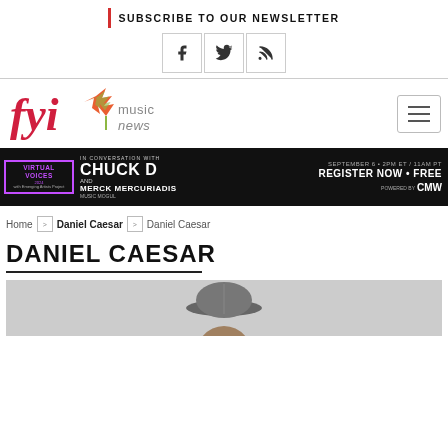SUBSCRIBE TO OUR NEWSLETTER
[Figure (other): Social media icons: Facebook, Twitter, RSS feed]
[Figure (logo): FYI Music News logo with maple leaf]
[Figure (infographic): Advertisement banner: Virtual Voices - In Conversation with Chuck D and Merck Mercuriadis, September 6 - 2PM ET / 11AM PT - Register Now Free - CMW]
Home > Daniel Caesar > Daniel Caesar
DANIEL CAESAR
[Figure (photo): Photo of Daniel Caesar wearing a cap, shown from shoulders up against a light grey background]